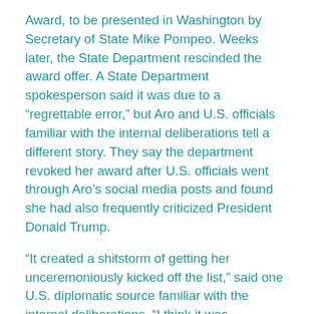Award, to be presented in Washington by Secretary of State Mike Pompeo. Weeks later, the State Department rescinded the award offer. A State Department spokesperson said it was due to a “regrettable error,” but Aro and U.S. officials familiar with the internal deliberations tell a different story. They say the department revoked her award after U.S. officials went through Aro’s social media posts and found she had also frequently criticized President Donald Trump.
“It created a shitstorm of getting her unceremoniously kicked off the list,” said one U.S. diplomatic source familiar with the internal deliberations. “I think it was absolutely the wrong decision on so many levels,” the source said. The decision “had nothing to do with her work.”
The State Department spokesperson said in an email that